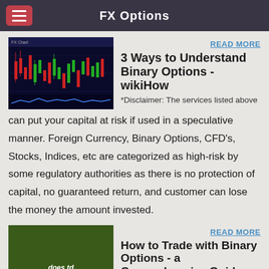FX Options
[Figure (screenshot): Stock/FX candlestick chart screenshot with red and green candles on dark background]
READ MORE
3 Ways to Understand Binary Options - wikiHow
*Disclaimer: The services listed above can put your capital at risk if used in a speculative manner. Foreign Currency, Binary Options, CFD’s, Stocks, Indices, etc are categorized as high-risk by some regulatory authorities as there is no protection of capital, no guaranteed return, and customer can lose the money the amount invested.
[Figure (photo): Dark olive green background with white italic text reading 'does td ameritrade do']
READ MORE
How to Trade with Binary Options - a Comprehensive Guide •